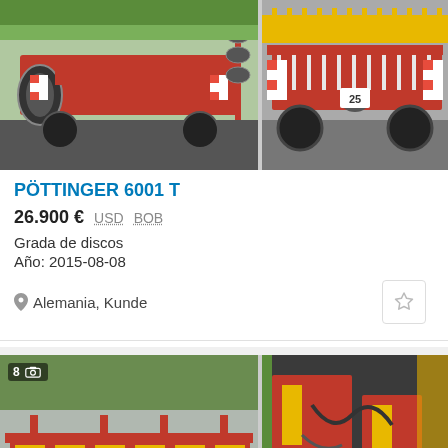[Figure (photo): Red disc harrow agricultural machine parked outdoors, left image]
[Figure (photo): Red disc harrow from rear view, partially cropped, right image]
PÖTTINGER 6001 T
26.900 € USD BOB
Grada de discos
Año: 2015-08-08
Alemania, Kunde
[Figure (photo): Red agricultural tillage machine with yellow components parked on paving stones, photo count badge showing 8]
[Figure (photo): Close-up of red agricultural machine parts inside a barn, partially cropped]